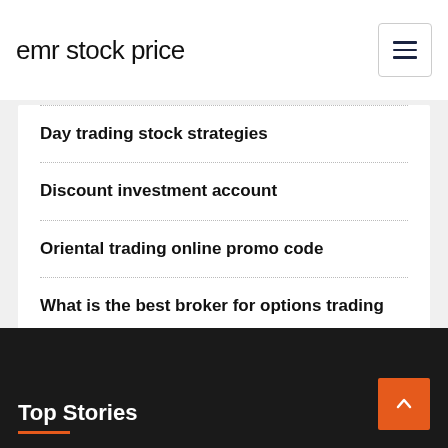emr stock price
stocks in publicly traded
Day trading stock strategies
Discount investment account
Oriental trading online promo code
What is the best broker for options trading
Top Stories